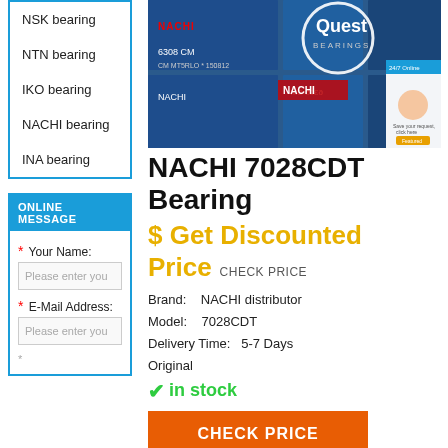NSK bearing
NTN bearing
IKO bearing
NACHI bearing
INA bearing
ONLINE MESSAGE
* Your Name:
Please enter you
* E-Mail Address:
Please enter you
[Figure (photo): Photo of NACHI bearing boxes stacked, showing Quest Bearings branding and NACHI 6308 CM product boxes]
NACHI 7028CDT Bearing
$ Get Discounted Price  CHECK PRICE
Brand:   NACHI distributor
Model:   7028CDT
Delivery Time:   5-7 Days
Original
✓in stock
CHECK PRICE